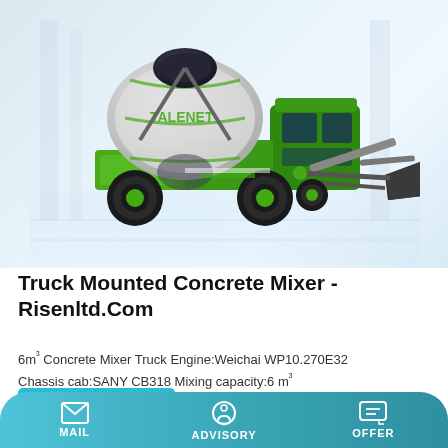[Figure (photo): A green and white self-loading concrete mixer truck (TALENBT branded) with a large rotating drum, front loader bucket, and rubber tracks, shown on a light grey reflective floor with a modern building background.]
Truck Mounted Concrete Mixer - Risenltd.Com
6m³ Concrete Mixer Truck Engine:Weichai WP10.270E32 Chassis cab:SANY CB318 Mixing capacity:6 m³
Learn More
MAIL   ADVISORY   OFFER